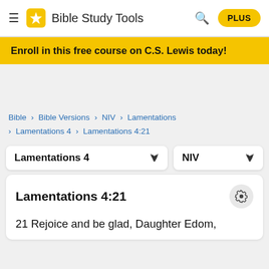Bible Study Tools PLUS
Enroll in this free course on C.S. Lewis today!
Bible > Bible Versions > NIV > Lamentations > Lamentations 4 > Lamentations 4:21
Lamentations 4  [dropdown]   NIV [dropdown]
Lamentations 4:21
21 Rejoice and be glad, Daughter Edom,